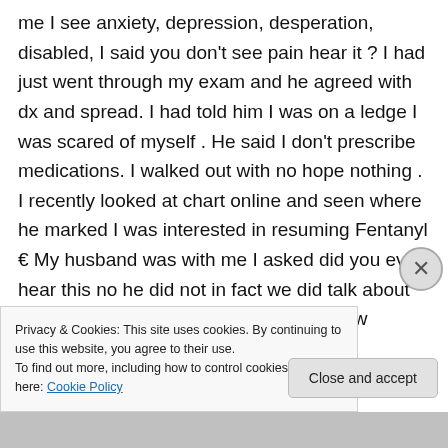me I see anxiety, depression, desperation, disabled, I said you don't see pain hear it ? I had just went through my exam and he agreed with dx and spread. I had told him I was on a ledge I was scared of myself . He said I don't prescribe medications. I walked out with no hope nothing . I recently looked at chart online and seen where he marked I was interested in resuming Fentanyl 😠 My husband was with me I asked did you ever hear this no he did not in fact we did talk about how I was on fentanyl and how I was now
Privacy & Cookies: This site uses cookies. By continuing to use this website, you agree to their use.
To find out more, including how to control cookies, see here: Cookie Policy
Close and accept